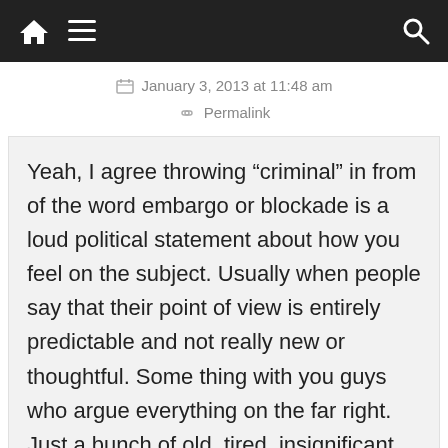Home | Menu | Search
January 3, 2013 at 11:48 am
Permalink
Yeah, I agree throwing “criminal” in from of the word embargo or blockade is a loud political statement about how you feel on the subject. Usually when people say that their point of view is entirely predictable and not really new or thoughtful. Some thing with you guys who argue everything on the far right. Just a bunch of old, tired, insignificant rhetoric.
And I’m well aware of the white card, the